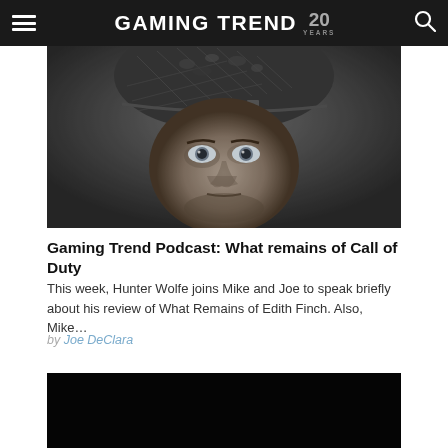GAMING TREND 20 YEARS
[Figure (photo): Close-up of a soldier's face wearing a combat helmet with netting and camouflage, black and white/desaturated photo]
Gaming Trend Podcast: What remains of Call of Duty
This week, Hunter Wolfe joins Mike and Joe to speak briefly about his review of What Remains of Edith Finch. Also, Mike…
by Joe DeClara
[Figure (photo): Dark/black image, appears to be a dark gaming scene or thumbnail]